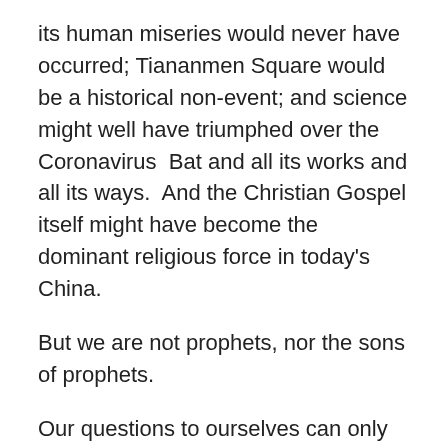its human miseries would never have occurred; Tiananmen Square would be a historical non-event; and science might well have triumphed over the Coronavirus  Bat and all its works and all its ways.  And the Christian Gospel itself might have become the dominant religious force in today's China.
But we are not prophets, nor the sons of prophets.
Our questions to ourselves can only be:  What should be the Christian's task during times of crisis?
FIRST, we must substitute solid rationality for suspicion, ungrounded tradition, and wish-fulfillment when making religious and scientific